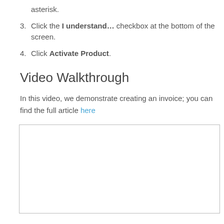asterisk.
3. Click the I understand... checkbox at the bottom of the screen.
4. Click Activate Product.
Video Walkthrough
In this video, we demonstrate creating an invoice; you can find the full article here
[Figure (screenshot): Empty video player box with a border]